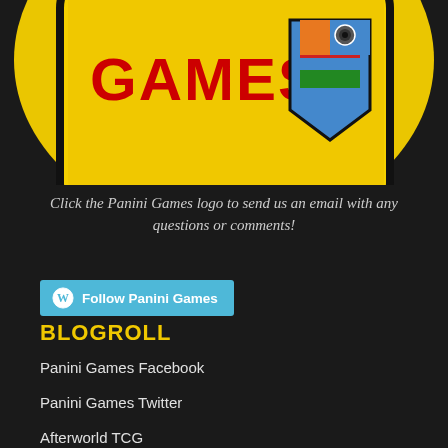[Figure (logo): Panini Games logo on yellow background with colorful shield emblem, partially cropped at top]
Click the Panini Games logo to send us an email with any questions or comments!
Follow Panini Games
BLOGROLL
Panini Games Facebook
Panini Games Twitter
Afterworld TCG
TAK Games (AU)